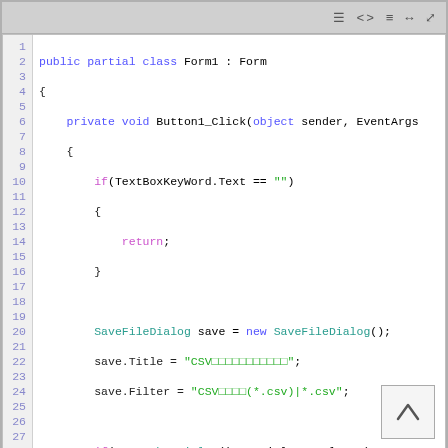[Figure (screenshot): A code editor screenshot showing C# source code for a Form1 class with a Button1_Click method. The code handles saving a CSV file using SaveFileDialog, reads DateTime values from DateTimePicker controls, and includes commented-out ComboBox code. Line numbers 1-28 are visible on the left.]